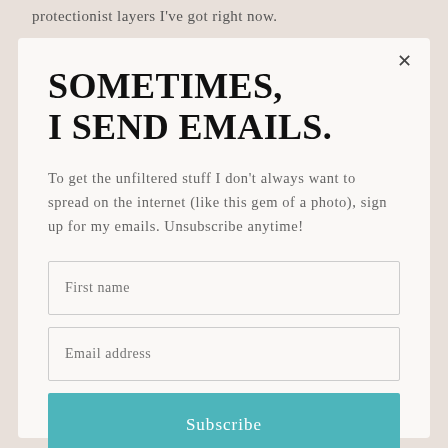protectionist layers I've got right now.
SOMETIMES,
I SEND EMAILS.
To get the unfiltered stuff I don't always want to spread on the internet (like this gem of a photo), sign up for my emails. Unsubscribe anytime!
First name
Email address
Subscribe